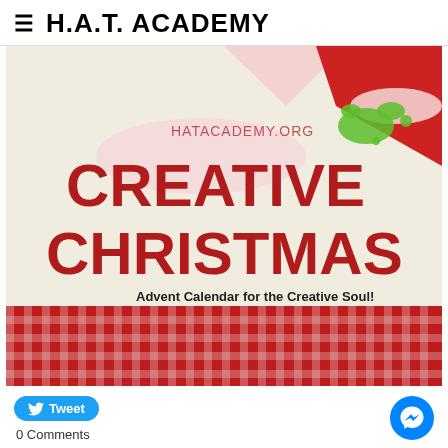H.A.T. ACADEMY
[Figure (illustration): HAT Academy Creative Christmas advent calendar promotional image. Beige/cream background with red 'CREATIVE CHRISTMAS' text, subtitle 'Advent Calendar for the Creative Soul!', website HATACADEMY.ORG, a Santa hat in the top-right corner with green paint splatter, a green paint tube and a long paintbrush crossing, and red gingham/plaid pattern at the bottom.]
Tweet
0 Comments